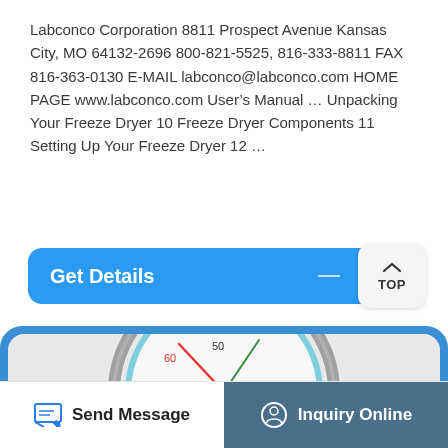Labconco Corporation 8811 Prospect Avenue Kansas City, MO 64132-2696 800-821-5525, 816-333-8811 FAX 816-363-0130 E-MAIL labconco@labconco.com HOME PAGE www.labconco.com User’s Manual … Unpacking Your Freeze Dryer 10 Freeze Dryer Components 11 Setting Up Your Freeze Dryer 12 …
[Figure (screenshot): Blue 'Get Details' button bar with a TOP navigation button on the right]
[Figure (photo): Partial photo of a Freeze Dryer vacuum gauge instrument mounted on a blue-bordered panel, showing dial markings including 60 and 50]
[Figure (screenshot): Bottom action bar with 'Send Message' on the left and 'Inquiry Online' on the right with teal/dark background]